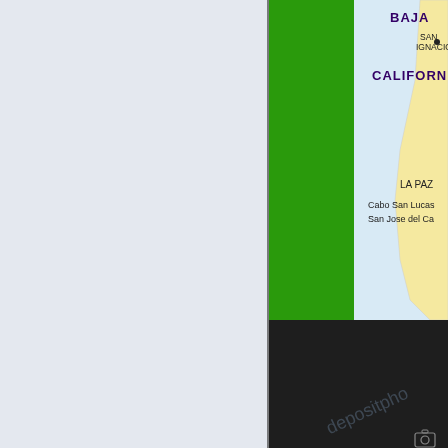[Figure (map): Partial view of a map showing Baja California, Mexico region with labels for BAJA, CALIFORNIA, SAN IGNACIO, LA PAZ, Cabo San Lucas, San Jose del Ca(bo), and partial text PAC (Pacific Ocean). A green vertical strip divides the map from a light blue-gray background on the left. The lower portion shows a dark black/charcoal area with a watermark reading 'depositpho' and a small camera icon in the bottom right corner.]